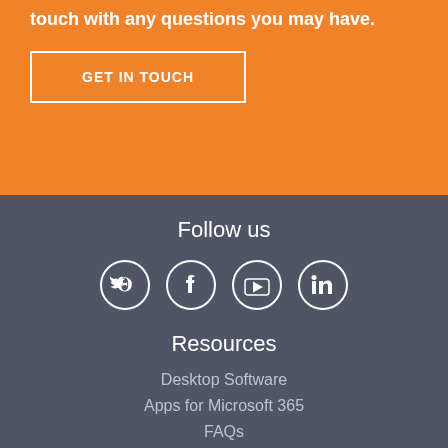touch with any questions you may have.
GET IN TOUCH
Follow us
[Figure (illustration): Four social media icons in circles: Twitter, Facebook, YouTube, LinkedIn]
Resources
Desktop Software
Apps for Microsoft 365
FAQs
Events & Webinars (partial)